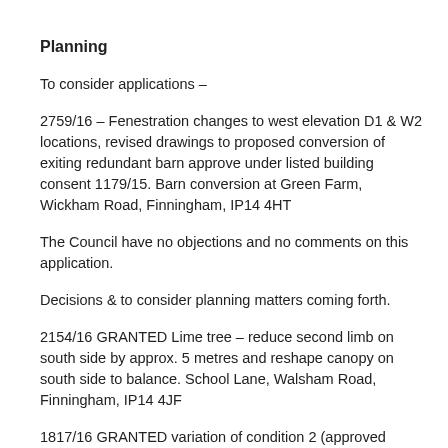Planning
To consider applications –
2759/16 – Fenestration changes to west elevation D1 & W2 locations, revised drawings to proposed conversion of exiting redundant barn approve under listed building consent 1179/15. Barn conversion at Green Farm, Wickham Road, Finningham, IP14 4HT
The Council have no objections and no comments on this application.
Decisions & to consider planning matters coming forth.
2154/16 GRANTED Lime tree – reduce second limb on south side by approx. 5 metres and reshape canopy on south side to balance. School Lane, Walsham Road, Finningham, IP14 4JF
1817/16 GRANTED variation of condition 2 (approved plans) and condition 3 (external materials) of listed building...